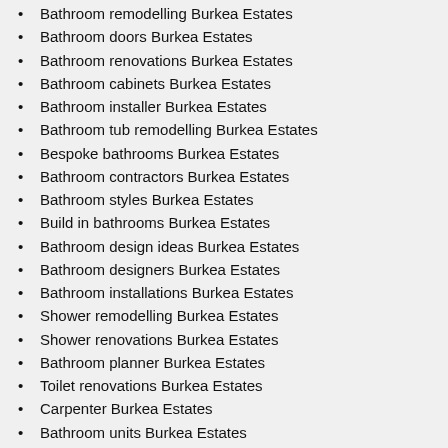Bathroom remodelling Burkea Estates
Bathroom doors Burkea Estates
Bathroom renovations Burkea Estates
Bathroom cabinets Burkea Estates
Bathroom installer Burkea Estates
Bathroom tub remodelling Burkea Estates
Bespoke bathrooms Burkea Estates
Bathroom contractors Burkea Estates
Bathroom styles Burkea Estates
Build in bathrooms Burkea Estates
Bathroom design ideas Burkea Estates
Bathroom designers Burkea Estates
Bathroom installations Burkea Estates
Shower remodelling Burkea Estates
Shower renovations Burkea Estates
Bathroom planner Burkea Estates
Toilet renovations Burkea Estates
Carpenter Burkea Estates
Bathroom units Burkea Estates
Cheap bathrooms Burkea Estates
Bathroom alterations Burkea Estates
Bathroom plans Burkea Estates
Bathroom floor plans Burkea Estates
Small bathroom design Burkea Estates
Modern bathrooms Burkea Estates
Their reputation is of the highest standards with extensive experience in